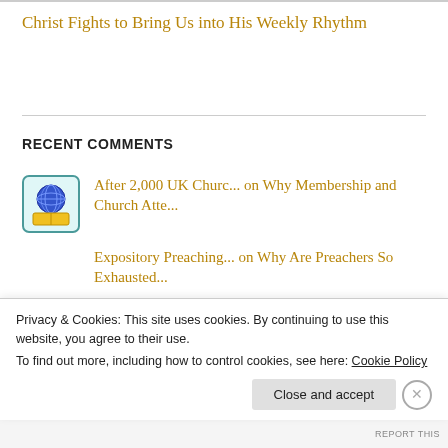Christ Fights to Bring Us into His Weekly Rhythm
RECENT COMMENTS
After 2,000 UK Churc... on Why Membership and Church Atte...
Expository Preaching... on Why Are Preachers So Exhausted...
Expository Preaching... on Expository Preaching Exposes M...
Hamm on How Pentecost Renewed the...
Privacy & Cookies: This site uses cookies. By continuing to use this website, you agree to their use. To find out more, including how to control cookies, see here: Cookie Policy
Close and accept